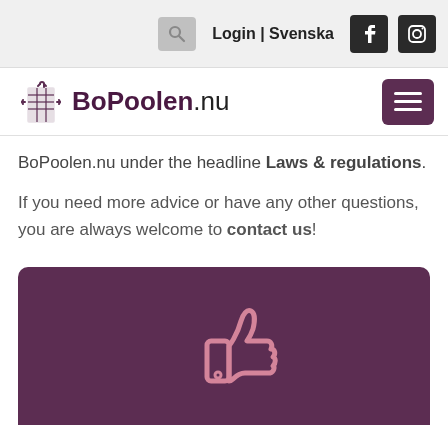Login | Svenska
[Figure (logo): BoPoolen.nu logo with grid building icon]
BoPoolen.nu under the headline Laws & regulations.
If you need more advice or have any other questions, you are always welcome to contact us!
[Figure (illustration): Thumbs up icon on dark purple background]